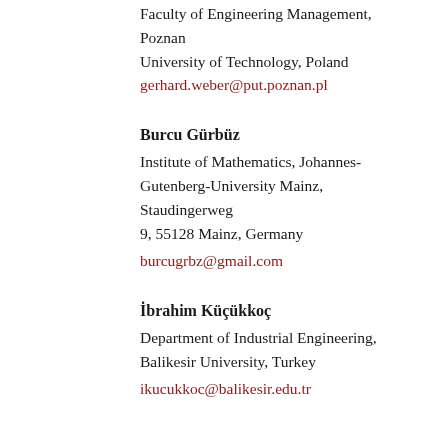Faculty of Engineering Management, Poznan University of Technology, Poland
gerhard.weber@put.poznan.pl
Burcu Gürbüz
Institute of Mathematics, Johannes-Gutenberg-University Mainz, Staudingerweg 9, 55128 Mainz, Germany
burcugrbz@gmail.com
İbrahim Küçükkoç
Department of Industrial Engineering, Balikesir University, Turkey
ikucukkoc@balikesir.edu.tr